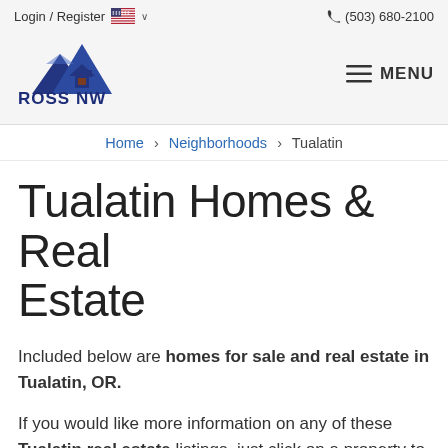Login / Register  🇺🇸 ∨   (503) 680-2100
[Figure (logo): Ross NW Real Estate logo with house/mountain graphic in blue and dark navy, text ROSS NW REAL ESTATE]
≡ MENU
Home > Neighborhoods > Tualatin
Tualatin Homes & Real Estate
Included below are homes for sale and real estate in Tualatin, OR.
If you would like more information on any of these Tualatin real estate listings, just click on a property to access the full details. From there, you can